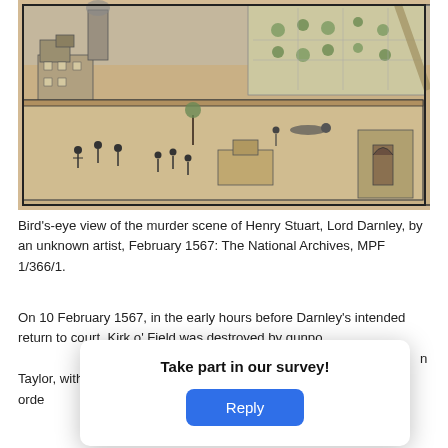[Figure (illustration): Bird's-eye view illustration/map of the murder scene of Henry Stuart, Lord Darnley, 1567. Shows buildings, gardens, figures in a courtyard scene, drawn in pen and ink with some color wash. Historical document image.]
Bird's-eye view of the murder scene of Henry Stuart, Lord Darnley, by an unknown artist, February 1567: The National Archives, MPF 1/366/1.
On 10 February 1567, in the early hours before Darnley's intended return to court, Kirk o' Field was destroyed by gunpo[wder]. The discovery of Darnley['s body, and that of his servant] n Taylor, without a [mark of violence upon them.] A shocked Mary orde[red an inquiry and offered a reward to] anyone coming fo[rward with information.]